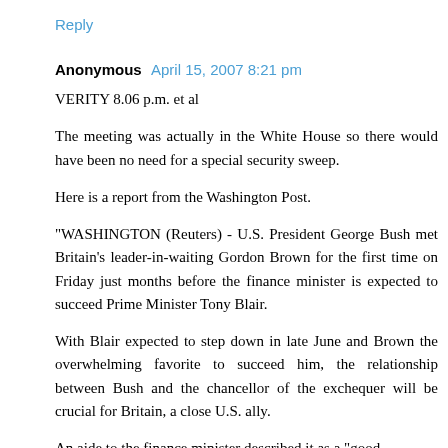Reply
Anonymous  April 15, 2007 8:21 pm
VERITY 8.06 p.m. et al
The meeting was actually in the White House so there would have been no need for a special security sweep.
Here is a report from the Washington Post.
"WASHINGTON (Reuters) - U.S. President George Bush met Britain's leader-in-waiting Gordon Brown for the first time on Friday just months before the finance minister is expected to succeed Prime Minister Tony Blair.
With Blair expected to step down in late June and Brown the overwhelming favorite to succeed him, the relationship between Bush and the chancellor of the exchequer will be crucial for Britain, a close U.S. ally.
An aide to the finance minister described it as a "good